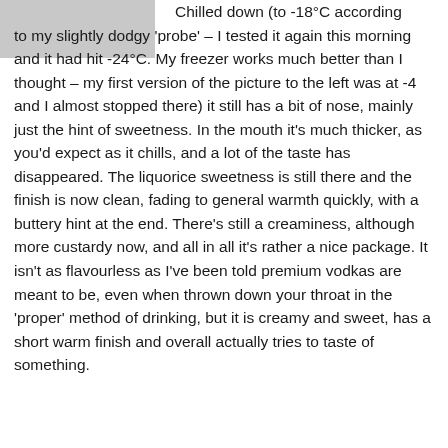[Figure (photo): A grayscale photo of a bottle or glass, partially visible in the top-left corner]
Chilled down (to -18°C according to my slightly dodgy 'probe' – I tested it again this morning and it had hit -24°C. My freezer works much better than I thought – my first version of the picture to the left was at -4 and I almost stopped there) it still has a bit of nose, mainly just the hint of sweetness. In the mouth it's much thicker, as you'd expect as it chills, and a lot of the taste has disappeared. The liquorice sweetness is still there and the finish is now clean, fading to general warmth quickly, with a buttery hint at the end. There's still a creaminess, although more custardy now, and all in all it's rather a nice package. It isn't as flavourless as I've been told premium vodkas are meant to be, even when thrown down your throat in the 'proper' method of drinking, but it is creamy and sweet, has a short warm finish and overall actually tries to taste of something.